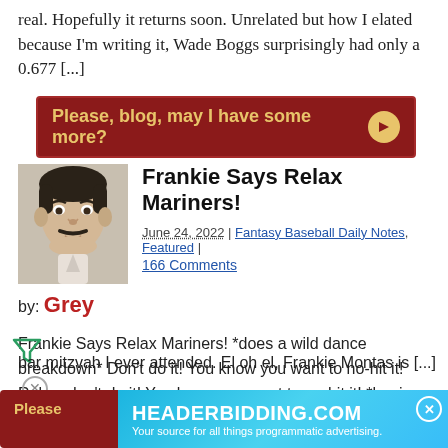real. Hopefully it returns soon. Unrelated but how I elated because I'm writing it, Wade Boggs surprisingly had only a 0.677 [...]
[Figure (other): Dark red button/banner reading 'Please, blog, may I have some more?' with a gold arrow circle on the right]
[Figure (photo): Black and white headshot photo of a man with a mustache]
Frankie Says Relax Mariners!
June 24, 2022 | Fantasy Baseball Daily Notes, Featured | 166 Comments
by: Grey
Frankie Says Relax Mariners! *does a wild dance breakdown* Don't do it! You know you want to no-hit it! Relax, don't do it! You know you want to no-hit it! *begins to pant from overexcitement and needs to sit down* That was the best bar mitzvah I ever attended. El oh el, Frankie Montas is [...]
[Figure (other): Advertisement banner for HEADERBIDDING.COM with blue gradient background. Text: 'HEADERBIDDING.COM — Your source for all things programmatic advertising.']